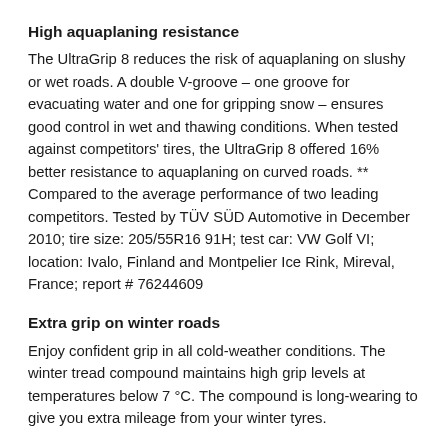High aquaplaning resistance
The UltraGrip 8 reduces the risk of aquaplaning on slushy or wet roads. A double V-groove – one groove for evacuating water and one for gripping snow – ensures good control in wet and thawing conditions. When tested against competitors' tires, the UltraGrip 8 offered 16% better resistance to aquaplaning on curved roads. ** Compared to the average performance of two leading competitors. Tested by TÜV SÜD Automotive in December 2010; tire size: 205/55R16 91H; test car: VW Golf VI; location: Ivalo, Finland and Montpelier Ice Rink, Mireval, France; report # 76244609
Extra grip on winter roads
Enjoy confident grip in all cold-weather conditions. The winter tread compound maintains high grip levels at temperatures below 7 °C. The compound is long-wearing to give you extra mileage from your winter tyres.